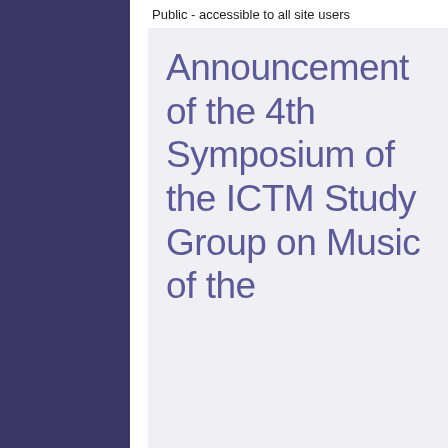Public - accessible to all site users
Announcement of the 4th Symposium of the ICTM Study Group on Music of the